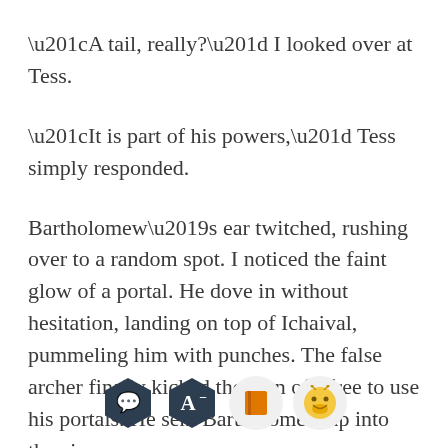“A tail, really?” I looked over at Tess.
“It is part of his powers,” Tess simply responded.
Bartholomew’s ear twitched, rushing over to a random spot. I noticed the faint glow of a portal. He dove in without hesitation, landing on top of Ichaival, pummeling him with punches. The false archer finally kicked the man off, free to use his portals. He sent Bartholomew up into the air,
dropping him down from a greater height than